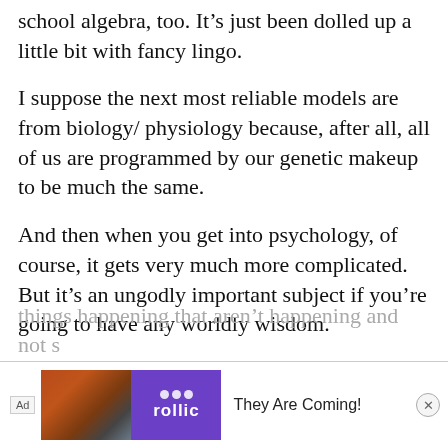school algebra, too. It's just been dolled up a little bit with fancy lingo.
I suppose the next most reliable models are from biology/ physiology because, after all, all of us are programmed by our genetic makeup to be much the same.
And then when you get into psychology, of course, it gets very much more complicated. But it's an ungodly important subject if you're going to have any worldly wisdom.
And you can demonstrate that point quite simply: There's not a person in this room viewing the work of a very ordinary professional magician who doesn't see a lot of things happening that aren't happening and not s...
[Figure (other): Advertisement bar at the bottom of the page. Shows 'Ad' label, an image with reddish terrain, a purple logo box with 'rollic' text and white circles, and tagline 'They Are Coming!' with a close (x) button.]